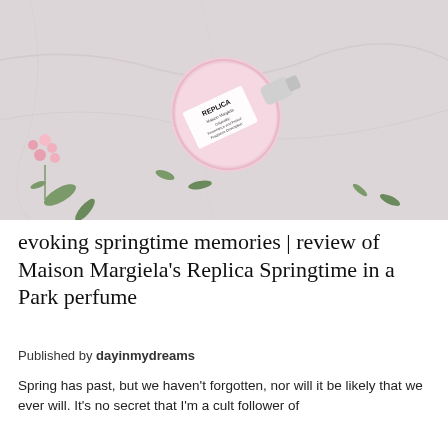[Figure (photo): A pink Maison Margiela Replica perfume bottle lying on its side on a white marble surface, with small pink flowers and green leaves scattered around it. The bottle label reads REPLICA and Maison Margiela Paris.]
evoking springtime memories | review of Maison Margiela's Replica Springtime in a Park perfume
Published by dayinmydreams
Spring has past, but we haven't forgotten, nor will it be likely that we ever will. It's no secret that I'm a cult follower of